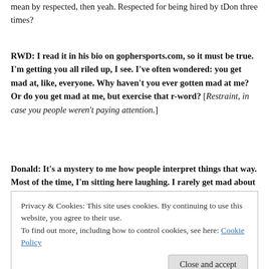mean by respected, then yeah. Respected for being hired by tDon three times?
RWD: I read it in his bio on gophersports.com, so it must be true. I'm getting you all riled up, I see. I've often wondered: you get mad at, like, everyone. Why haven't you ever gotten mad at me? Or do you get mad at me, but exercise that r-word? [Restraint, in case you people weren't paying attention.]
Donald: It's a mystery to me how people interpret things that way. Most of the time, I'm sitting here laughing. I rarely get mad about
Privacy & Cookies: This site uses cookies. By continuing to use this website, you agree to their use.
To find out more, including how to control cookies, see here: Cookie Policy
Close and accept